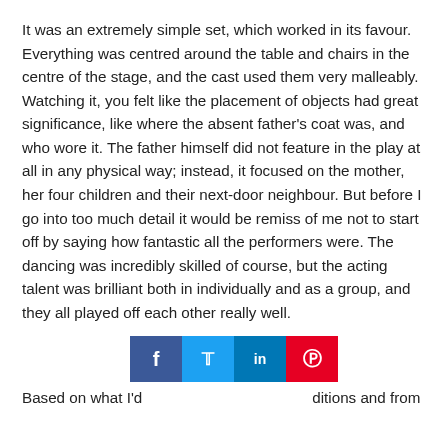It was an extremely simple set, which worked in its favour. Everything was centred around the table and chairs in the centre of the stage, and the cast used them very malleably. Watching it, you felt like the placement of objects had great significance, like where the absent father's coat was, and who wore it. The father himself did not feature in the play at all in any physical way; instead, it focused on the mother, her four children and their next-door neighbour. But before I go into too much detail it would be remiss of me not to start off by saying how fantastic all the performers were. The dancing was incredibly skilled of course, but the acting talent was brilliant both in individually and as a group, and they all played off each other really well.
[Figure (other): Social media share buttons: Facebook, Twitter, LinkedIn, Pinterest]
Based on what I'd… …ditions and from